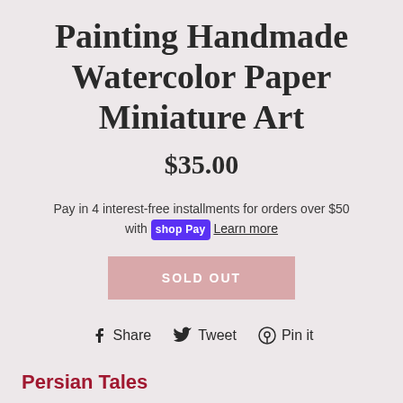Painting Handmade Watercolor Paper Miniature Art
$35.00
Pay in 4 interest-free installments for orders over $50 with shop Pay Learn more
SOLD OUT
Share  Tweet  Pin it
Persian Tales